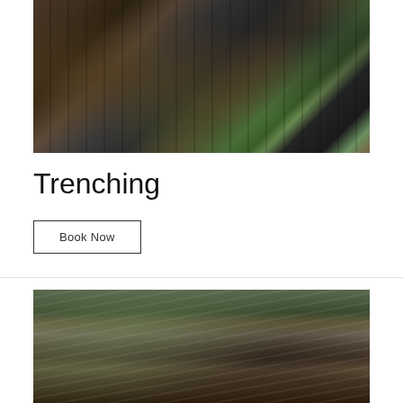[Figure (photo): A trench dug in dark soil with grass visible on the left side, and a corrugated black drainage pipe visible in the top right corner. View looking down into the trench from above.]
Trenching
Book Now
[Figure (photo): A close-up view of a trench showing grass and roots at the top and exposed dark brown soil below, with fibrous root material visible.]